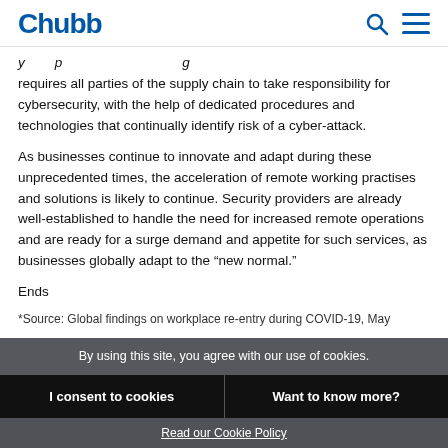Chubb
requires all parties of the supply chain to take responsibility for cybersecurity, with the help of dedicated procedures and technologies that continually identify risk of a cyber-attack.
As businesses continue to innovate and adapt during these unprecedented times, the acceleration of remote working practises and solutions is likely to continue. Security providers are already well-established to handle the need for increased remote operations and are ready for a surge demand and appetite for such services, as businesses globally adapt to the “new normal.”
Ends
*Source: Global findings on workplace re-entry during COVID-19, May
By using this site, you agree with our use of cookies.
I consent to cookies
Want to know more?
Read our Cookie Policy